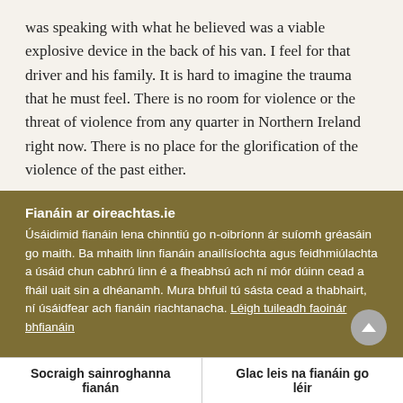was speaking with what he believed was a viable explosive device in the back of his van. I feel for that driver and his family. It is hard to imagine the trauma that he must feel. There is no room for violence or the threat of violence from any quarter in Northern Ireland right now. There is no place for the glorification of the violence of the past either.
Today, the delegation of the United States Congress
Fianáin ar oireachtas.ie
Úsáidimid fianáin lena chinntiú go n-oibríonn ár suíomh gréasáin go maith. Ba mhaith linn fianáin anailísíochta agus feidhmiúlachta a úsáid chun cabhrú linn é a fheabhsú ach ní mór dúinn cead a fháil uait sin a dhéanamh. Mura bhfuil tú sásta cead a thabhairt, ní úsáidfear ach fianáin riachtanacha. Léigh tuileadh faoinár bhfianáin
Socraigh sainroghanna fianán
Glac leis na fianáin go léir